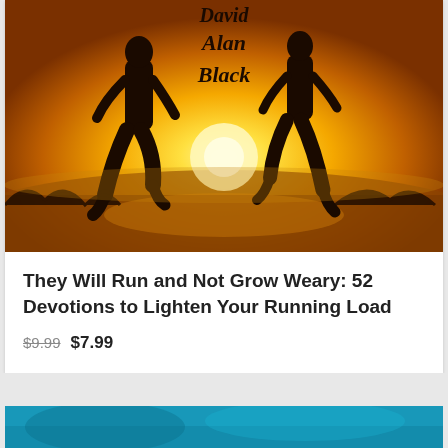[Figure (illustration): Book cover image showing silhouettes of two runners against a warm golden sunset background with the author name 'David Alan Black' visible in script font]
They Will Run and Not Grow Weary: 52 Devotions to Lighten Your Running Load
$9.99  $7.99
[Figure (illustration): Partial view of another book cover with teal/blue tones at the bottom of the page]